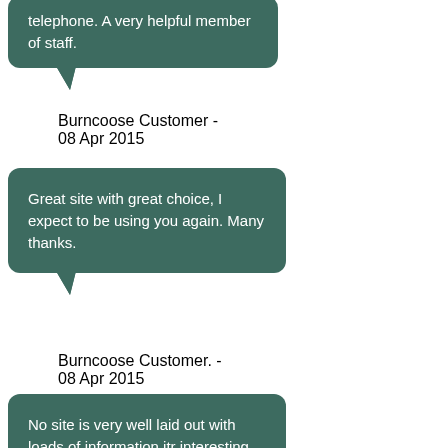telephone. A very helpful member of staff.
Burncoose Customer - 08 Apr 2015
Great site with great choice, I expect to be using you again. Many thanks.
Burncoose Customer. - 08 Apr 2015
No site is very well laid out with loads of information.itr interesting just to browse and look at...